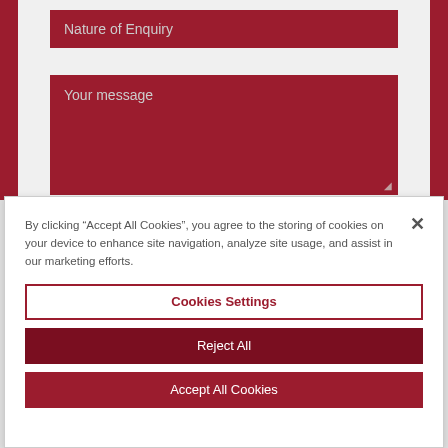[Figure (screenshot): Web form with two dark red input fields: 'Nature of Enquiry' text field and 'Your message' textarea, with vertical red bars on left and right sides]
By clicking “Accept All Cookies”, you agree to the storing of cookies on your device to enhance site navigation, analyze site usage, and assist in our marketing efforts.
Cookies Settings
Reject All
Accept All Cookies